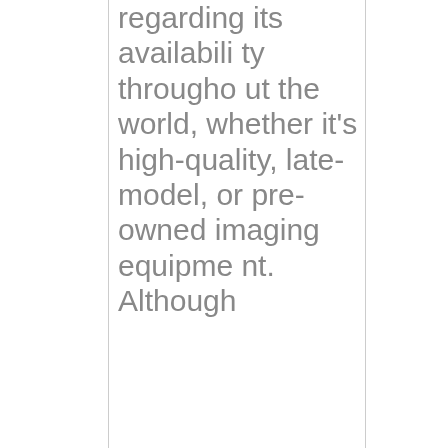regarding its availability throughout the world, whether it's high-quality, late-model, or pre-owned imaging equipment. Although